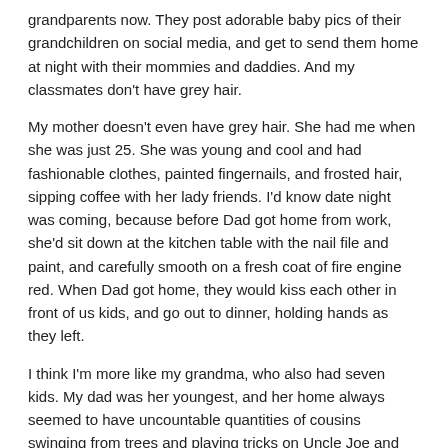grandparents now.  They post adorable baby pics of their grandchildren on social media, and get to send them home at night with their mommies and daddies.  And my classmates don't have grey hair.
My mother doesn't even have grey hair.  She had me when she was just 25.  She was young and cool and had fashionable clothes, painted fingernails, and frosted hair, sipping coffee with her lady friends.  I'd know date night was coming, because before Dad got home from work, she'd sit down at the kitchen table with the nail file and paint, and carefully smooth on a fresh coat of fire engine red.  When Dad got home, they would kiss each other in front of us kids, and go out to dinner, holding hands as they left.
I think I'm more like my grandma, who also had seven kids.  My dad was her youngest, and her home always seemed to have uncountable quantities of cousins swinging from trees and playing tricks on Uncle Joe and running off with fistfuls of Aunt Rita's giant oatmeal cookies.  I have no idea what kind of hairstyle my grandmother had.  But she did have hair.  It was grey.
Another child chimed in "Mom, do you want to go to the spa today?"
Do they even know what a spa is?  Oh, wait.  Of course they do.  One walk